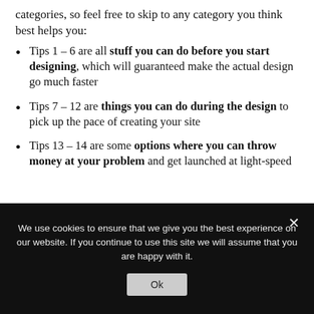categories, so feel free to skip to any category you think best helps you:
Tips 1 – 6 are all stuff you can do before you start designing, which will guaranteed make the actual design go much faster
Tips 7 – 12 are things you can do during the design to pick up the pace of creating your site
Tips 13 – 14 are some options where you can throw money at your problem and get launched at light-speed
We use cookies to ensure that we give you the best experience on our website. If you continue to use this site we will assume that you are happy with it.